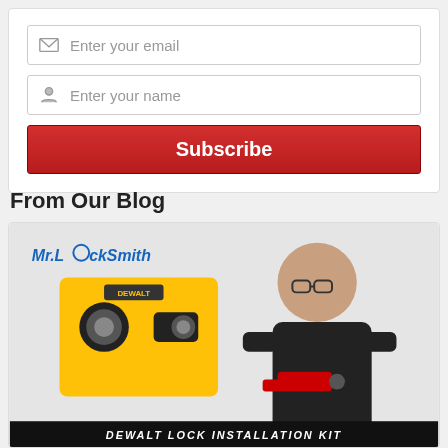[Figure (screenshot): Email subscription form with email input field, name input field, and red Subscribe button]
From Our Blog
[Figure (photo): Mr. Locksmith blog post image showing a yellow DeWalt lock installation kit tool and a man in a dark polo shirt holding a drill, with text 'DEWALT LOCK INSTALLATION KIT' at the bottom]